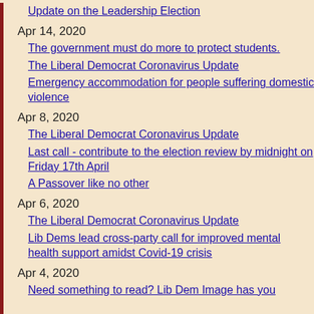Update on the Leadership Election
Apr 14, 2020
The government must do more to protect students.
The Liberal Democrat Coronavirus Update
Emergency accommodation for people suffering domestic violence
Apr 8, 2020
The Liberal Democrat Coronavirus Update
Last call - contribute to the election review by midnight on Friday 17th April
A Passover like no other
Apr 6, 2020
The Liberal Democrat Coronavirus Update
Lib Dems lead cross-party call for improved mental health support amidst Covid-19 crisis
Apr 4, 2020
Need something to read? Lib Dem Image has you